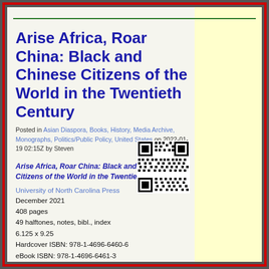Arise Africa, Roar China: Black and Chinese Citizens of the World in the Twentieth Century
Posted in Asian Diaspora, Books, History, Media Archive, Monographs, Politics/Public Policy, United States on 2022-01-19 02:15Z by Steven
[Figure (other): QR code linking to the book page]
Arise Africa, Roar China: Black and Chinese Citizens of the World in the Twentieth Century
University of North Carolina Press
December 2021
408 pages
49 halftones, notes, bibl., index
6.125 x 9.25
Hardcover ISBN: 978-1-4696-6460-6
eBook ISBN: 978-1-4696-6461-3